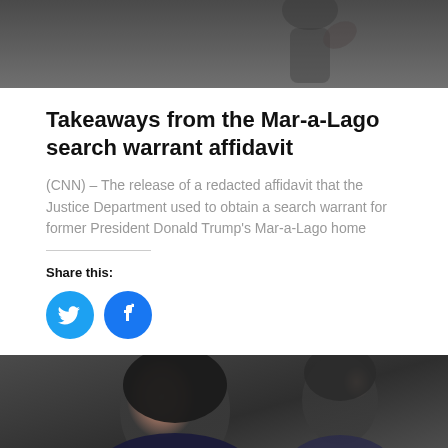[Figure (photo): Top portion of photo showing a person waving, dark background]
Takeaways from the Mar-a-Lago search warrant affidavit
(CNN) – The release of a redacted affidavit that the Justice Department used to obtain a search warrant for former President Donald Trump's Mar-a-Lago home
Share this:
[Figure (illustration): Twitter and Facebook share icon buttons (blue circles with bird and f logos)]
[Figure (photo): Bottom photo showing a woman with dark hair speaking, a man visible in background, dark tones]